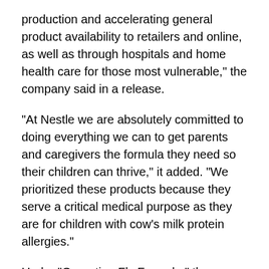production and accelerating general product availability to retailers and online, as well as through hospitals and home health care for those most vulnerable," the company said in a release.
"At Nestle we are absolutely committed to doing everything we can to get parents and caregivers the formula they need so their children can thrive," it added. "We prioritized these products because they serve a critical medical purpose as they are for children with cow's milk protein allergies."
Under "Operation Fly Formula," the Department of Agriculture and the Department of Health and Human Services are authorized to request Department of Defense support to pick up overseas infant formula that meets U.S. health and safety standards, so it can